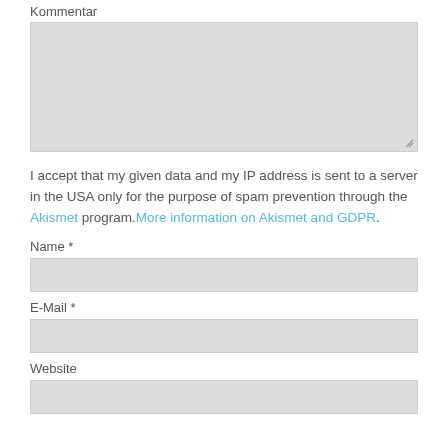Kommentar
[Figure (other): Large textarea input box for Kommentar field with resize handle]
I accept that my given data and my IP address is sent to a server in the USA only for the purpose of spam prevention through the Akismet program.More information on Akismet and GDPR.
Name *
[Figure (other): Input box for Name field]
E-Mail *
[Figure (other): Input box for E-Mail field]
Website
[Figure (other): Input box for Website field]